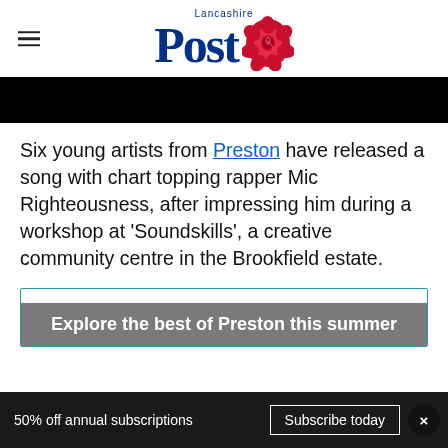Lancashire Post
[Figure (photo): Black banner image strip at top of article]
Six young artists from Preston have released a song with chart topping rapper Mic Righteousness, after impressing him during a workshop at 'Soundskills', a creative community centre in the Brookfield estate.
Explore the best of Preston this summer
50% off annual subscriptions  Subscribe today  ×